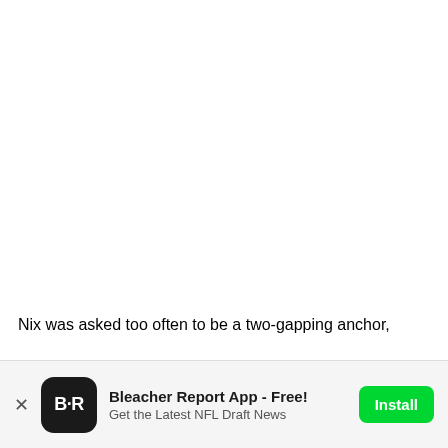Nix was asked too often to be a two-gapping anchor,
[Figure (screenshot): Bleacher Report app install advertisement banner with app icon, title 'Bleacher Report App - Free!', subtitle 'Get the Latest NFL Draft News', and green Install button]